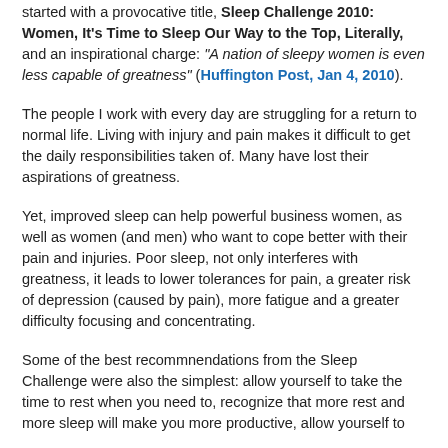started with a provocative title, Sleep Challenge 2010: Women, It's Time to Sleep Our Way to the Top, Literally, and an inspirational charge: "A nation of sleepy women is even less capable of greatness" (Huffington Post, Jan 4, 2010).
The people I work with every day are struggling for a return to normal life. Living with injury and pain makes it difficult to get the daily responsibilities taken of. Many have lost their aspirations of greatness.
Yet, improved sleep can help powerful business women, as well as women (and men) who want to cope better with their pain and injuries. Poor sleep, not only interferes with greatness, it leads to lower tolerances for pain, a greater risk of depression (caused by pain), more fatigue and a greater difficulty focusing and concentrating.
Some of the best recommnendations from the Sleep Challenge were also the simplest: allow yourself to take the time to rest when you need to, recognize that more rest and more sleep will make you more productive, allow yourself to